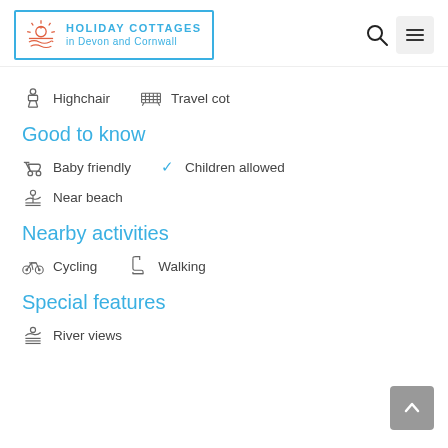Holiday Cottages in Devon and Cornwall
Highchair
Travel cot
Good to know
Baby friendly
Children allowed
Near beach
Nearby activities
Cycling
Walking
Special features
River views